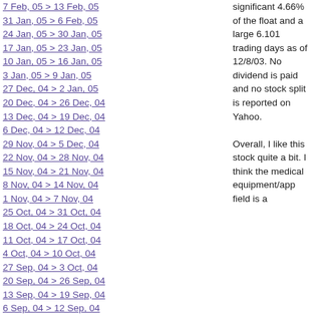7 Feb, 05 > 13 Feb, 05
31 Jan, 05 > 6 Feb, 05
24 Jan, 05 > 30 Jan, 05
17 Jan, 05 > 23 Jan, 05
10 Jan, 05 > 16 Jan, 05
3 Jan, 05 > 9 Jan, 05
27 Dec, 04 > 2 Jan, 05
20 Dec, 04 > 26 Dec, 04
13 Dec, 04 > 19 Dec, 04
6 Dec, 04 > 12 Dec, 04
29 Nov, 04 > 5 Dec, 04
22 Nov, 04 > 28 Nov, 04
15 Nov, 04 > 21 Nov, 04
8 Nov, 04 > 14 Nov, 04
1 Nov, 04 > 7 Nov, 04
25 Oct, 04 > 31 Oct, 04
18 Oct, 04 > 24 Oct, 04
11 Oct, 04 > 17 Oct, 04
4 Oct, 04 > 10 Oct, 04
27 Sep, 04 > 3 Oct, 04
20 Sep, 04 > 26 Sep, 04
13 Sep, 04 > 19 Sep, 04
6 Sep, 04 > 12 Sep, 04
30 Aug, 04 > 5 Sep, 04
23 Aug, 04 > 29 Aug, 04
16 Aug, 04 > 22 Aug, 04
9 Aug, 04 > 15 Aug, 04
2 Aug, 04 > 8 Aug, 04
significant 4.66% of the float and a large 6.101 trading days as of 12/8/03. No dividend is paid and no stock split is reported on Yahoo.
Overall, I like this stock quite a bit. I think the medical equipment/app field is a